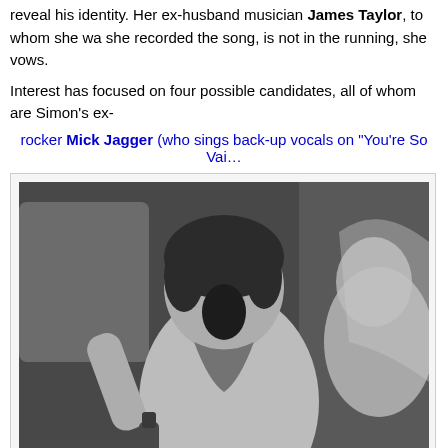reveal his identity. Her ex-husband musician James Taylor, to whom she was married when she recorded the song, is not in the running, she vows.
Interest has focused on four possible candidates, all of whom are Simon's ex-
rocker Mick Jagger (who sings back-up vocals on "You're So Vai…
[Figure (photo): Black and white photo of Mick Jagger laughing in a car, with a woman in a veil beside him.]
Mick Jagger marries Bianca De Macias in St. Tropez in 1971.
actor Warren Beatty